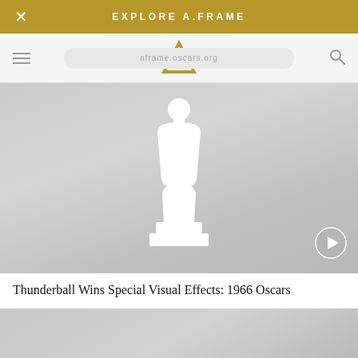EXPLORE A.FRAME
[Figure (screenshot): A.Frame Oscars website navigation bar with logo, hamburger menu, and search icon]
[Figure (photo): Oscar statuette silhouette in white on grey gradient background, with a play button in the bottom right corner]
Thunderball Wins Special Visual Effects: 1966 Oscars
[Figure (photo): Partial view of another video thumbnail with grey gradient background]